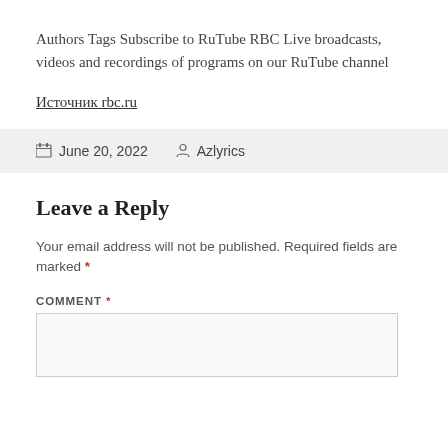Authors Tags Subscribe to RuTube RBC Live broadcasts, videos and recordings of programs on our RuTube channel
Источник rbc.ru
June 20, 2022   Azlyrics
Leave a Reply
Your email address will not be published. Required fields are marked *
COMMENT *